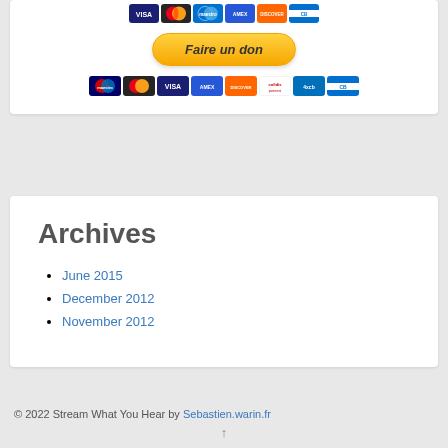[Figure (other): Payment card icons row (Visa, Mastercard, Maestro, AmEx, Discover, another card)]
[Figure (other): PayPal Faire un don (donate) button with payment icons below (Maestro, Mastercard, Visa, AmEx, Discover, Cofidis, 4xcb, CB)]
Archives
June 2015
December 2012
November 2012
© 2022 Stream What You Hear by Sebastien.warin.fr